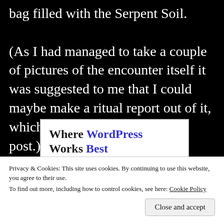bag filled with the Serpent Soil.
(As I had managed to take a couple of pictures of the encounter itself it was suggested to me that I could maybe make a ritual report out of it, which now resulted in this blog post.)
[Figure (screenshot): WordPress advertisement banner showing 'Where WordPress Works Best' text in dark and blue bold fonts with a blue underline bar]
Privacy & Cookies: This site uses cookies. By continuing to use this website, you agree to their use.
To find out more, including how to control cookies, see here: Cookie Policy
Close and accept